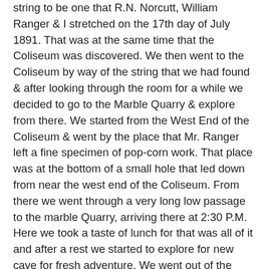string to be one that R.N. Norcutt, William Ranger & I stretched on the 17th day of July 1891. That was at the same time that the Coliseum was discovered. We then went to the Coliseum by way of the string that we had found & after looking through the room for a while we decided to go to the Marble Quarry & explore from there. We started from the West End of the Coliseum & went by the place that Mr. Ranger left a fine specimen of pop-corn work. That place was at the bottom of a small hole that led down from near the west end of the Coliseum. From there we went through a very long low passage to the marble Quarry, arriving there at 2:30 P.M. Here we took a taste of lunch for that was all of it and after a rest we started to explore for new cave for fresh adventure. We went out of the Marble Quarry by way of the North Entrance & after going for about a hundred yards through an airy passage we arrived at the third entrance of the Coliseum Route . that is the one that comes up from the Council Chamber. I had thought of leading the party to explore to the North East of the entrance but saw a passage leading to the West and I told the party to wait until I saw if it would pay to explore it.